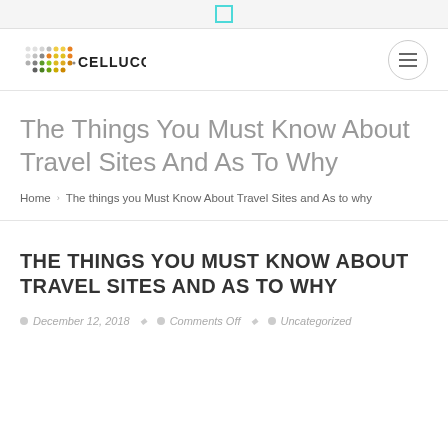[Figure (logo): Celluco logo with colorful dots pattern and CELLUCO text]
The Things You Must Know About Travel Sites And As To Why
Home › The things you Must Know About Travel Sites and As to why
THE THINGS YOU MUST KNOW ABOUT TRAVEL SITES AND AS TO WHY
December 12, 2018   Comments Off   Uncategorized